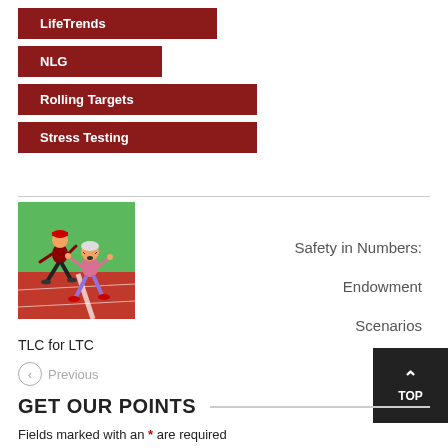LifeTrends
NLG
Rolling Targets
Stress Testing
[Figure (illustration): Cartoon illustration of two elderly runners racing on a red track with a green background]
Safety in Numbers:
Endowment
Scenarios
TLC for LTC
Previous
Next
TOP
GET OUR POINTS
Fields marked with an * are required